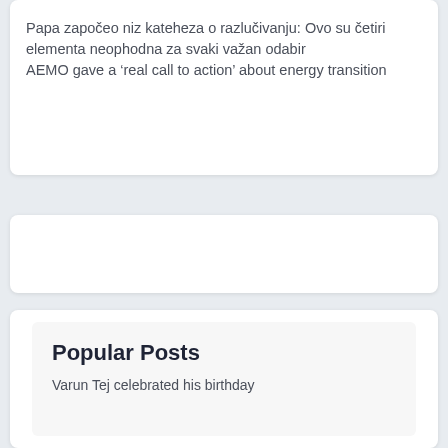Papa započeo niz kateheza o razlučivanju: Ovo su četiri elementa neophodna za svaki važan odabir
AEMO gave a ‘real call to action’ about energy transition
[Figure (other): Empty white card / advertisement placeholder]
Popular Posts
Varun Tej celebrated his birthday